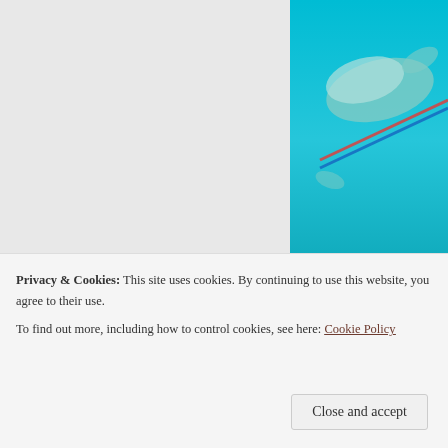[Figure (photo): Underwater photo of a fish (likely a shark or ray) at Moraine Cay, against turquoise/teal water background, cropped to show the top portion of the fish.]
One of our buddies at Moraine Cay.  This guy was determined to eat the camera!  It's on a pole over the side of the boat.
It wasn’t our plan, to make them leave… Honest!
I have given up on trying to get fish for dinner
Privacy & Cookies: This site uses cookies. By continuing to use this website, you agree to their use.
To find out more, including how to control cookies, see here: Cookie Policy
Close and accept